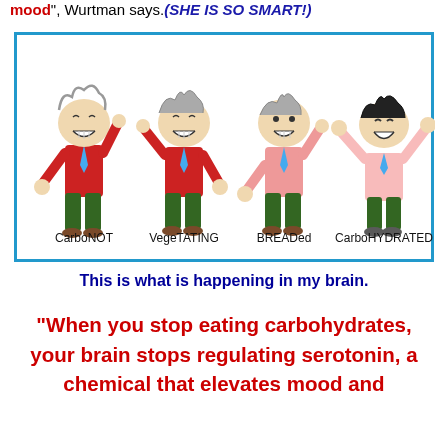mood", Wurtman says.(SHE IS SO SMART!)
[Figure (illustration): Four cartoon characters labeled left to right: CarboNOT (angry, red shirt), VegeTATING (angry, red shirt), BREADed (slightly less angry, pink shirt), CarboHYDRATED (happy, pink shirt raising arms)]
This is what is happening in my brain.
“When you stop eating carbohydrates, your brain stops regulating serotonin, a chemical that elevates mood and